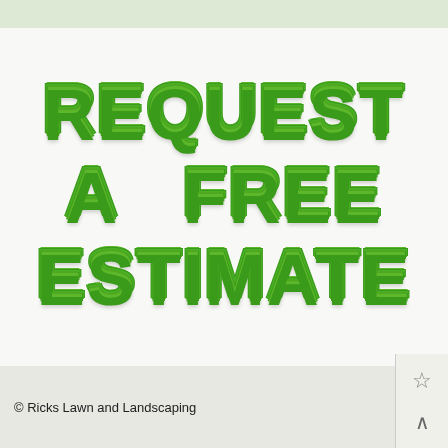[Figure (illustration): Decorative text reading 'REQUEST A FREE ESTIMATE' styled to look like grass/turf letters in green color on a light background]
© Ricks Lawn and Landscaping